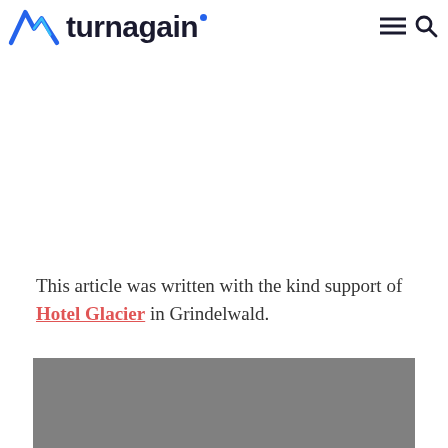[Figure (logo): Turnagain travel website logo with mountain/lightning bolt icon in blue and the word 'turnagain' in dark bold sans-serif font]
This article was written with the kind support of Hotel Glacier in Grindelwald.
[Figure (photo): Gray placeholder image area for a photo related to Grindelwald or Hotel Glacier]